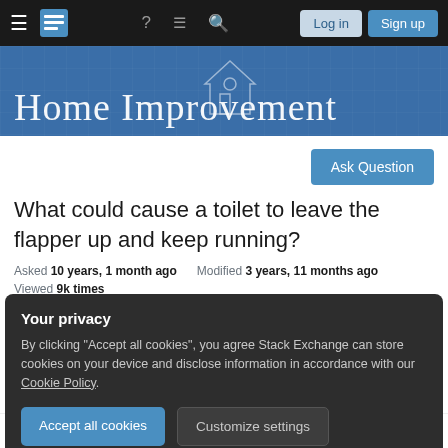Home Improvement - Stack Exchange navigation bar with Log in and Sign up buttons
[Figure (screenshot): Home Improvement Stack Exchange banner with blueprint-style background showing 'Home Improvement' text in decorative serif font with house icon]
Ask Question
What could cause a toilet to leave the flapper up and keep running?
Asked 10 years, 1 month ago   Modified 3 years, 11 months ago
Viewed 9k times
Your privacy
By clicking "Accept all cookies", you agree Stack Exchange can store cookies on your device and disclose information in accordance with our Cookie Policy.
Accept all cookies   Customize settings